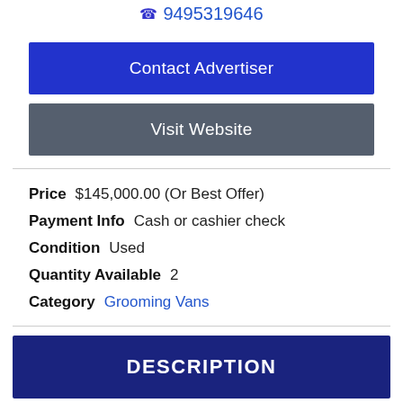☎ 9495319646
Contact Advertiser
Visit Website
Price   $145,000.00 (Or Best Offer)
Payment Info   Cash or cashier check
Condition   Used
Quantity Available   2
Category   Grooming Vans
DESCRIPTION